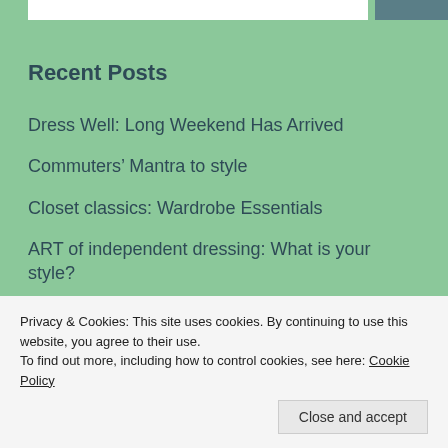Recent Posts
Dress Well: Long Weekend Has Arrived
Commuters’ Mantra to style
Closet classics: Wardrobe Essentials
ART of independent dressing: What is your style?
Be office ready with P N RAO!
Privacy & Cookies: This site uses cookies. By continuing to use this website, you agree to their use.
To find out more, including how to control cookies, see here: Cookie Policy